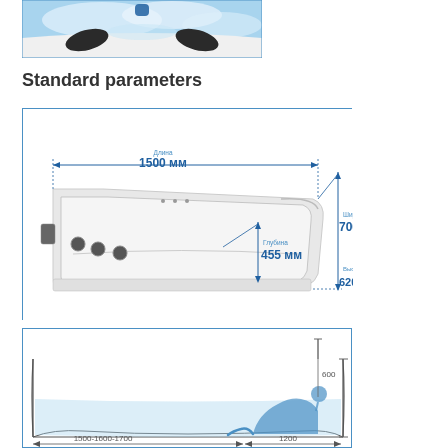[Figure (photo): Close-up photo of a bathtub with blue water and black headrests/jets]
Standard parameters
[Figure (engineering-diagram): Technical diagram of a bathtub showing dimensions: length 1500 mm, width 700 mm, depth 455 mm, height 620 mm, with annotation lines in Russian (Длина, Ширина, Глубина, Высота по)]
[Figure (engineering-diagram): Technical diagram showing cross-section of bathtub with person silhouette, dimensions 1500-1600-1700 length and 600 height, 1200 width]